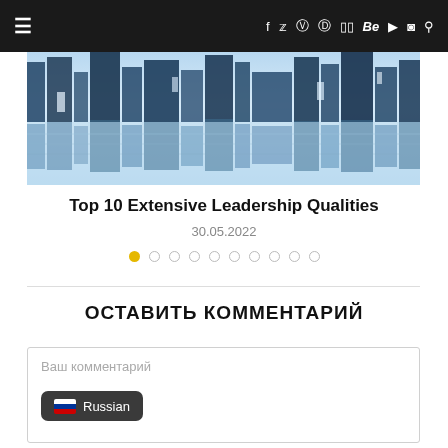Navigation bar with hamburger menu and social icons: f, Twitter, Instagram, Pinterest, Flickr, Be, YouTube, Snapchat, Search
[Figure (photo): Hero image showing a blue-toned cityscape reflection, abstract architectural forms in shades of blue and white]
Top 10 Extensive Leadership Qualities
30.05.2022
Pagination dots: 10 dots, first dot active (gold), rest empty circles
ОСТАВИТЬ КОММЕНТАРИЙ
Ваш комментарий
Russian (language selector button)